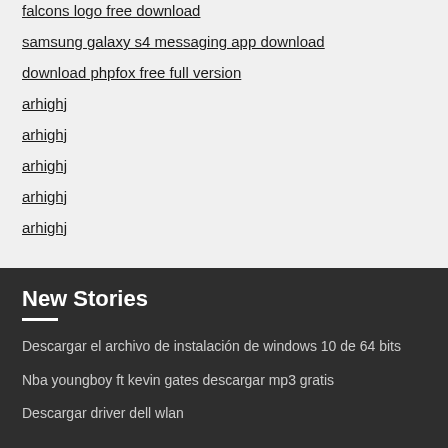falcons logo free download
samsung galaxy s4 messaging app download
download phpfox free full version
arhighj
arhighj
arhighj
arhighj
arhighj
New Stories
Descargar el archivo de instalación de windows 10 de 64 bits
Nba youngboy ft kevin gates descargar mp3 gratis
Descargar driver dell wlan